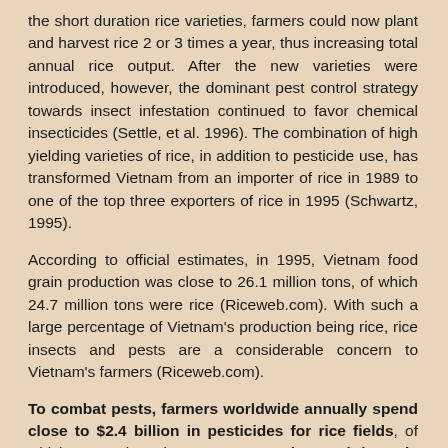the short duration rice varieties, farmers could now plant and harvest rice 2 or 3 times a year, thus increasing total annual rice output. After the new varieties were introduced, however, the dominant pest control strategy towards insect infestation continued to favor chemical insecticides (Settle, et al. 1996). The combination of high yielding varieties of rice, in addition to pesticide use, has transformed Vietnam from an importer of rice in 1989 to one of the top three exporters of rice in 1995 (Schwartz, 1995).
According to official estimates, in 1995, Vietnam food grain production was close to 26.1 million tons, of which 24.7 million tons were rice (Riceweb.com). With such a large percentage of Vietnam's production being rice, rice insects and pests are a considerable concern to Vietnam's farmers (Riceweb.com).
To combat pests, farmers worldwide annually spend close to $2.4 billion in pesticides for rice fields, of which approximately 80 per cent is used in Asia (Science News, 1994). The annual amount spent on pesticides for rice